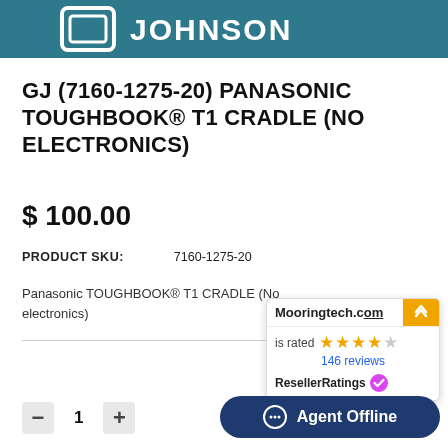[Figure (logo): GJ Johnson logo — white text on teal/dark-cyan background with square bracket icon]
GJ (7160-1275-20) PANASONIC TOUGHBOOK® T1 CRADLE (NO ELECTRONICS)
$ 100.00
PRODUCT SKU:    7160-1275-20
Panasonic TOUGHBOOK® T1 CRADLE (No electronics)
[Figure (infographic): Mooringtech.com ResellerRatings widget showing 4 out of 5 stars and 146 reviews with a verified badge]
[Figure (infographic): Agent Offline chat button — dark navy rounded rectangle with speech bubble icon]